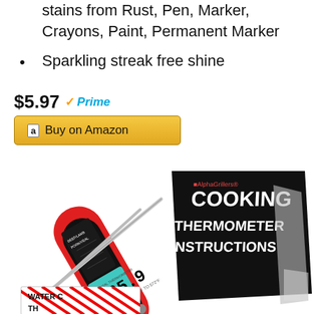stains from Rust, Pen, Marker, Crayons, Paint, Permanent Marker
Sparkling streak free shine
$5.97 ✓Prime
Buy on Amazon
[Figure (photo): A red digital cooking thermometer with a black body showing a temperature reading of 165.9°F on a cyan LCD display, with a 'COOKING THERMOMETER INSTRUCTIONS' black card visible in the background, and striped packaging at the bottom.]